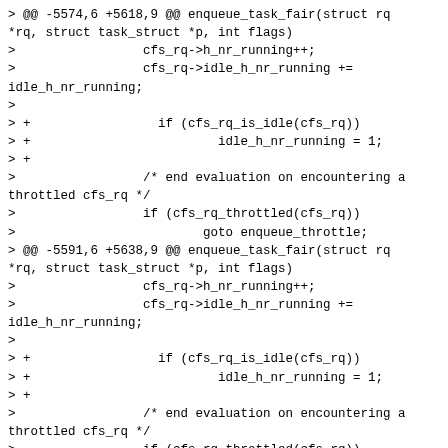> @@ -5574,6 +5618,9 @@ enqueue_task_fair(struct rq *rq, struct task_struct *p, int flags)
>                 cfs_rq->h_nr_running++;
>                 cfs_rq->idle_h_nr_running +=
idle_h_nr_running;
>
> +                 if (cfs_rq_is_idle(cfs_rq))
> +                         idle_h_nr_running = 1;
> +
>                 /* end evaluation on encountering a throttled cfs_rq */
>                 if (cfs_rq_throttled(cfs_rq))
>                         goto enqueue_throttle;
> @@ -5591,6 +5638,9 @@ enqueue_task_fair(struct rq *rq, struct task_struct *p, int flags)
>                 cfs_rq->h_nr_running++;
>                 cfs_rq->idle_h_nr_running +=
idle_h_nr_running;
>
> +                 if (cfs_rq_is_idle(cfs_rq))
> +                         idle_h_nr_running = 1;
> +
>                 /* end evaluation on encountering a throttled cfs_rq */
>                 if (cfs_rq_throttled(cfs_rq))
>                         goto enqueue_throttle;
> @@ -5668,6 +5718,9 @@ static void dequeue_task_fair(struct rq *rq, struct task_struct *p, int flags)
>                 cfs_rq->h_nr_running--;